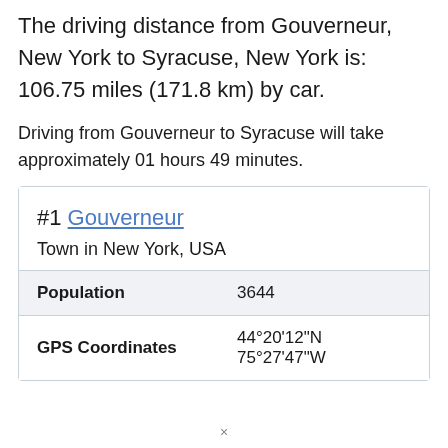The driving distance from Gouverneur, New York to Syracuse, New York is: 106.75 miles (171.8 km) by car.
Driving from Gouverneur to Syracuse will take approximately 01 hours 49 minutes.
#1 Gouverneur
Town in New York, USA
|  |  |
| --- | --- |
| Population | 3644 |
| GPS Coordinates | 44°20'12"N 75°27'47"W |